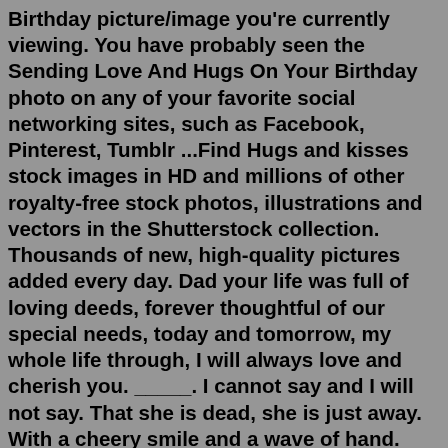Birthday picture/image you're currently viewing. You have probably seen the Sending Love And Hugs On Your Birthday photo on any of your favorite social networking sites, such as Facebook, Pinterest, Tumblr ...Find Hugs and kisses stock images in HD and millions of other royalty-free stock photos, illustrations and vectors in the Shutterstock collection. Thousands of new, high-quality pictures added every day. Dad your life was full of loving deeds, forever thoughtful of our special needs, today and tomorrow, my whole life through, I will always love and cherish you. _____. I cannot say and I will not say. That she is dead, she is just away. With a cheery smile and a wave of hand. She has wandered into an unknown land;Multiethnic couple in love standing and holding hands. Young multiethnic couple in love isolated on grey background looking up and thinking about their future together. Smiling man and african woman in casual hugging and looking away while planning the future. Cheerful couple holding hands while leaning on wall. Feb 16, 2016